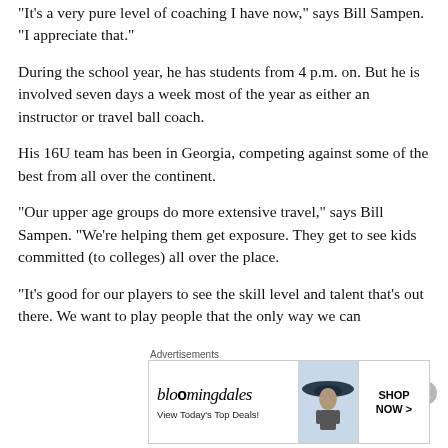“It’s a very pure level of coaching I have now,” says Bill Sampen. “I appreciate that.”
During the school year, he has students from 4 p.m. on. But he is involved seven days a week most of the year as either an instructor or travel ball coach.
His 16U team has been in Georgia, competing against some of the best from all over the continent.
“Our upper age groups do more extensive travel,” says Bill Sampen. “We’re helping them get exposure. They get to see kids committed (to colleges) all over the place.
“It’s good for our players to see the skill level and talent that’s out there. We want to play people that the only way we can
Advertisements
[Figure (other): Bloomingdale's advertisement banner with woman in hat. Text: bloomingdales, View Today's Top Deals!, SHOP NOW >]